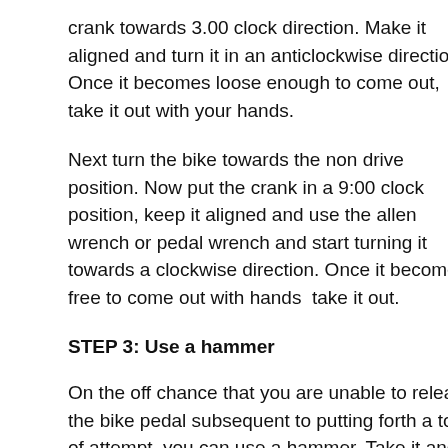crank towards 3.00 clock direction. Make it aligned and turn it in an anticlockwise direction. Once it becomes loose enough to come out, take it out with your hands.
Next turn the bike towards the non drive position. Now put the crank in a 9:00 clock position, keep it aligned and use the allen wrench or pedal wrench and start turning it towards a clockwise direction. Once it becomes free to come out with hands  take it out.
STEP 3: Use a hammer
On the off chance that you are unable to release the bike pedal subsequent to putting forth a ton of attempt, you can use a hammer. Take it and give a couple of strikes. When, it ought to slacken